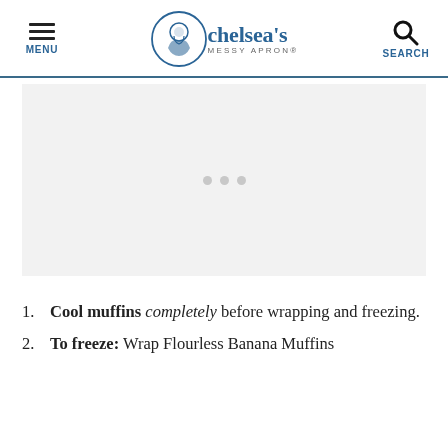MENU | chelsea's MESSY APRON® | SEARCH
[Figure (other): Advertisement placeholder block with three grey dots in the center on a light grey background]
Cool muffins completely before wrapping and freezing.
To freeze: Wrap Flourless Banana Muffins...